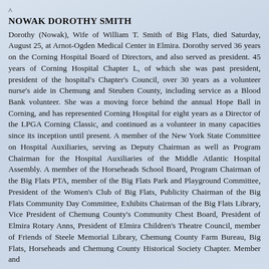NOWAK DOROTHY SMITH
Dorothy (Nowak), Wife of William T. Smith of Big Flats, died Saturday, August 25, at Arnot-Ogden Medical Center in Elmira. Dorothy served 36 years on the Corning Hospital Board of Directors, and also served as president. 45 years of Corning Hospital Chapter L, of which she was past president, president of the hospital's Chapter's Council, over 30 years as a volunteer nurse's aide in Chemung and Steuben County, including service as a Blood Bank volunteer. She was a moving force behind the annual Hope Ball in Corning, and has represented Corning Hospital for eight years as a Director of the LPGA Corning Classic, and continued as a volunteer in many capacities since its inception until present. A member of the New York State Committee on Hospital Auxiliaries, serving as Deputy Chairman as well as Program Chairman for the Hospital Auxiliaries of the Middle Atlantic Hospital Assembly. A member of the Horseheads School Board, Program Chairman of the Big Flats PTA, member of the Big Flats Park and Playground Committee, President of the Women's Club of Big Flats, Publicity Chairman of the Big Flats Community Day Committee, Exhibits Chairman of the Big Flats Library, Vice President of Chemung County's Community Chest Board, President of Elmira Rotary Anns, President of Elmira Children's Theatre Council, member of Friends of Steele Memorial Library, Chemung County Farm Bureau, Big Flats, Horseheads and Chemung County Historical Society Chapter. Member and...